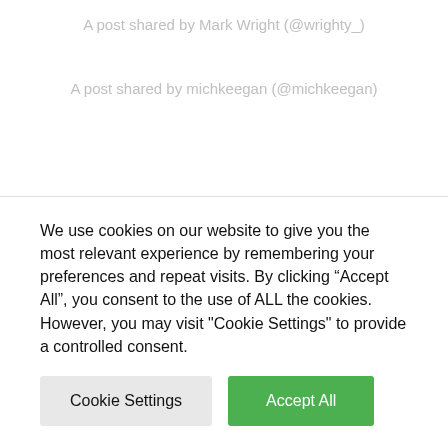A post shared by Mark Wright (@wrighty_)
A post shared by michkeegan (@michkeegan)
A post shared by Mark Wright (@wrighty_)
Despite not getting many touches of the ball, Wright, who plays at left-back and has been a regular in the ‘Soccer Aid’ charity series, will no doubt be proud of helping his team to what is their most momentous victory in several seasons. However, some fans are throwing a stick in the mud and saying that Wright's late cameo will overshadow the
We use cookies on our website to give you the most relevant experience by remembering your preferences and repeat visits. By clicking “Accept All”, you consent to the use of ALL the cookies. However, you may visit "Cookie Settings" to provide a controlled consent.